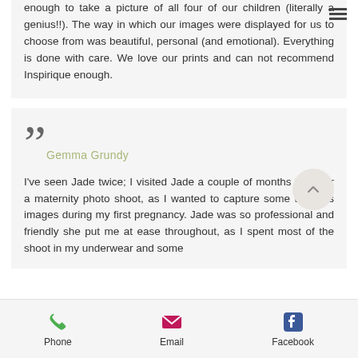enough to take a picture of all four of our children (literally a genius!!). The way in which our images were displayed for us to choose from was beautiful, personal (and emotional). Everything is done with care. We love our prints and can not recommend Inspirique enough.
Gemma Grundy
I've seen Jade twice; I visited Jade a couple of months back for a maternity photo shoot, as I wanted to capture some timeless images during my first pregnancy. Jade was so professional and friendly she put me at ease throughout, as I spent most of the shoot in my underwear and some
Phone   Email   Facebook